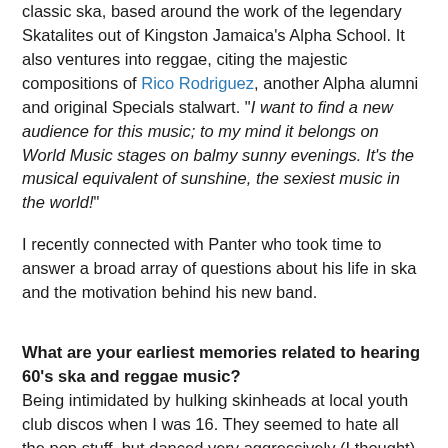classic ska, based around the work of the legendary Skatalites out of Kingston Jamaica's Alpha School. It also ventures into reggae, citing the majestic compositions of Rico Rodriguez, another Alpha alumni and original Specials stalwart. "I want to find a new audience for this music; to my mind it belongs on World Music stages on balmy sunny evenings. It's the musical equivalent of sunshine, the sexiest music in the world!"
I recently connected with Panter who took time to answer a broad array of questions about his life in ska and the motivation behind his new band.
What are your earliest memories related to hearing 60's ska and reggae music?
Being intimidated by hulking skinheads at local youth club discos when I was 16. They seemed to hate all the pop stuff, but danced very aggressively (I thought) when 'The Liquidator' or 'Return of the Django' was played!
Do you remember the first ska record you ever bought?
'Intensified' - a compilation LP purchased whilst in The Specials...